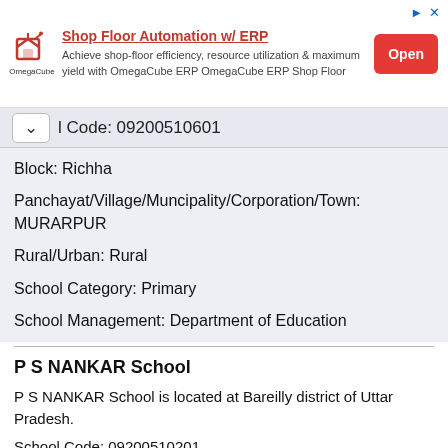[Figure (other): Advertisement banner for OmegaCube ERP Shop Floor Automation with Open button]
l Code: 09200510601
Block: Richha
Panchayat/Village/Muncipality/Corporation/Town: MURARPUR
Rural/Urban: Rural
School Category: Primary
School Management: Department of Education
P S NANKAR School
P S NANKAR School is located at Bareilly district of Uttar Pradesh.
School Code: 09200510201